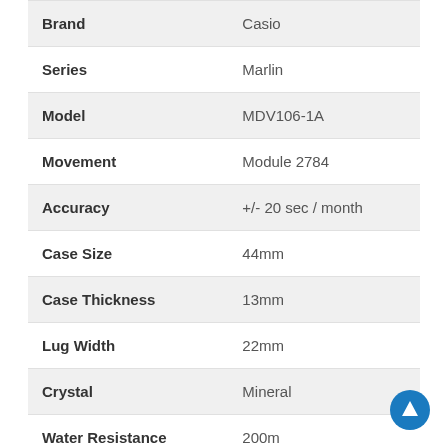| Attribute | Value |
| --- | --- |
| Brand | Casio |
| Series | Marlin |
| Model | MDV106-1A |
| Movement | Module 2784 |
| Accuracy | +/- 20 sec / month |
| Case Size | 44mm |
| Case Thickness | 13mm |
| Lug Width | 22mm |
| Crystal | Mineral |
| Water Resistance | 200m |